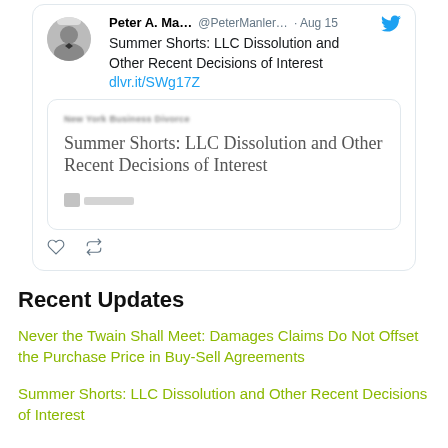[Figure (screenshot): Tweet by Peter A. Ma... (@PeterManler...) dated Aug 15 sharing 'Summer Shorts: LLC Dissolution and Other Recent Decisions of Interest' with link dlvr.it/SWg17Z, containing an embedded article card showing the same article title from New York Business Divorce.]
Recent Updates
Never the Twain Shall Meet: Damages Claims Do Not Offset the Purchase Price in Buy-Sell Agreements
Summer Shorts: LLC Dissolution and Other Recent Decisions of Interest